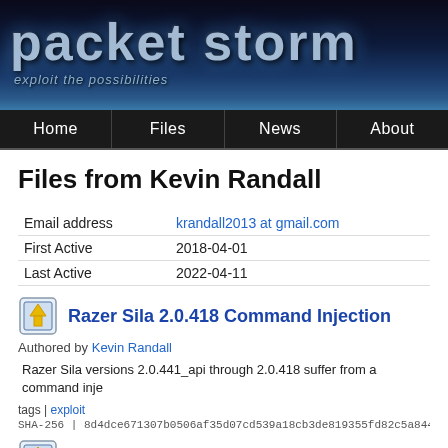[Figure (screenshot): Packet Storm website header banner with logo text 'packet storm' and tagline 'exploit the possibilities' on dark blue gradient background]
Home | Files | News | About
Files from Kevin Randall
|  |  |
| --- | --- |
| Email address | krandall2013 at gmail.com |
| First Active | 2018-04-01 |
| Last Active | 2022-04-11 |
Razer Sila 2.0.418 Command Injection
Authored by Kevin Randall
Razer Sila versions 2.0.441_api through 2.0.418 suffer from a command inje
tags | exploit
SHA-256 | 8d4dce671307b0506af35d07cd539a18cb3de819355fd82c5a8446...
[Figure (screenshot): Second file entry icon — partial view at bottom of page]